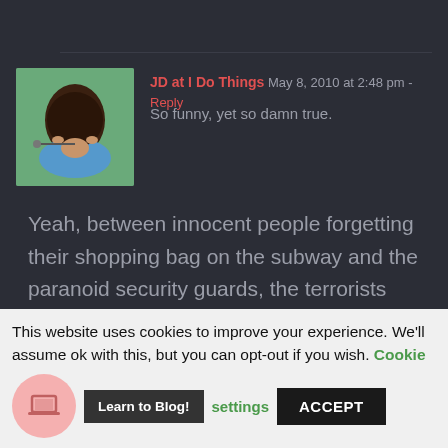JD at I Do Things  May 8, 2010 at 2:48 pm - Reply
So funny, yet so damn true.

Yeah, between innocent people forgetting their shopping bag on the subway and the paranoid security guards, the terrorists really don't even have to lift a finger.

Oh, and five stars for the reference to Escape from NY. Freaking awesome movie.
This website uses cookies to improve your experience. We'll assume ok with this, but you can opt-out if you wish. Cookie settings ACCEPT